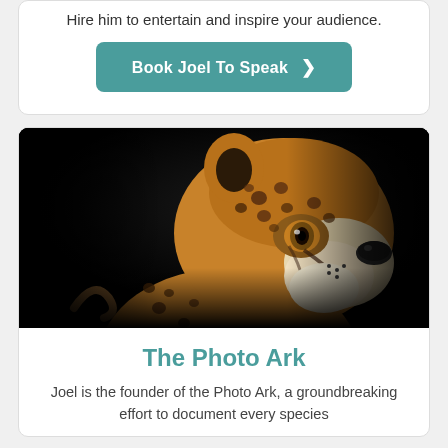Hire him to entertain and inspire your audience.
Book Joel To Speak ❯
[Figure (photo): Close-up portrait of a cheetah looking upward against a black background, showing its spotted fur, amber eyes, and distinctive facial markings.]
The Photo Ark
Joel is the founder of the Photo Ark, a groundbreaking effort to document every species